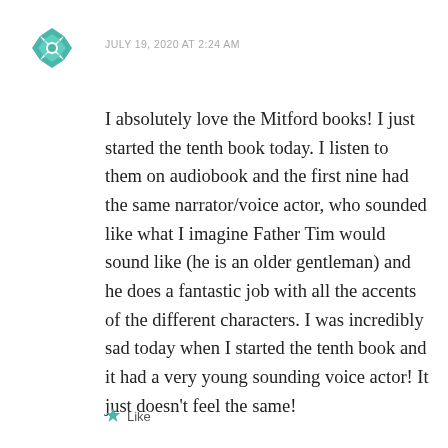[Figure (logo): Teal/green geometric star/flower avatar icon]
JULY 19, 2020 AT 2:24 AM
I absolutely love the Mitford books! I just started the tenth book today. I listen to them on audiobook and the first nine had the same narrator/voice actor, who sounded like what I imagine Father Tim would sound like (he is an older gentleman) and he does a fantastic job with all the accents of the different characters. I was incredibly sad today when I started the tenth book and it had a very young sounding voice actor! It just doesn't feel the same!
★ Like